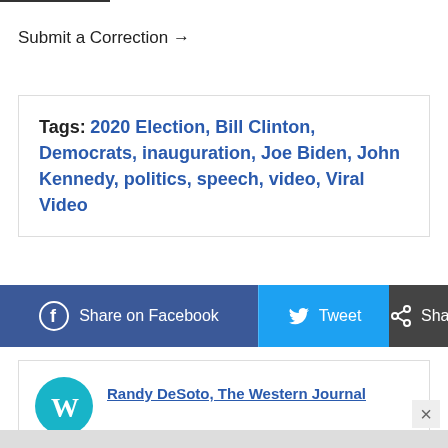Submit a Correction →
Tags: 2020 Election, Bill Clinton, Democrats, inauguration, Joe Biden, John Kennedy, politics, speech, video, Viral Video
[Figure (infographic): Social sharing bar with three buttons: Share on Facebook (blue), Tweet (cyan/light blue), Share (dark gray)]
Randy DeSoto, The Western Journal
Recent   Contact